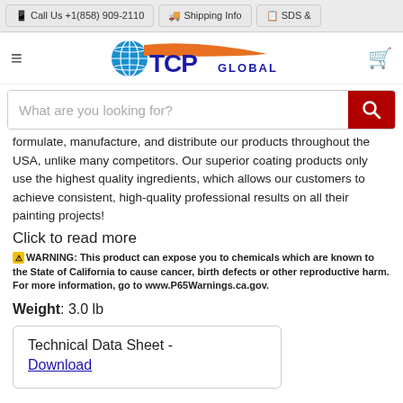Call Us +1(858) 909-2110 | Shipping Info | SDS &
[Figure (logo): TCP Global logo with globe icon, orange swoosh, and blue TCP GLOBAL text]
formulate, manufacture, and distribute our products throughout the USA, unlike many competitors. Our superior coating products only use the highest quality ingredients, which allows our customers to achieve consistent, high-quality professional results on all their painting projects!
Click to read more
⚠ WARNING: This product can expose you to chemicals which are known to the State of California to cause cancer, birth defects or other reproductive harm. For more information, go to www.P65Warnings.ca.gov.
Weight: 3.0 lb
Technical Data Sheet - Download